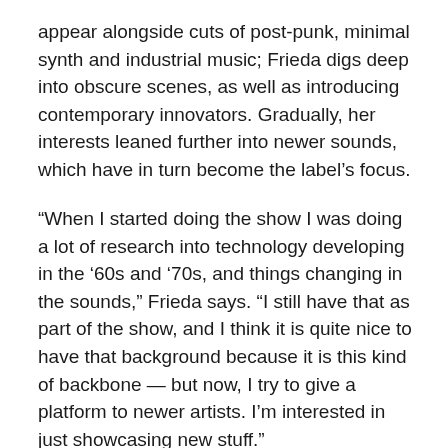appear alongside cuts of post-punk, minimal synth and industrial music; Frieda digs deep into obscure scenes, as well as introducing contemporary innovators. Gradually, her interests leaned further into newer sounds, which have in turn become the label's focus.
“When I started doing the show I was doing a lot of research into technology developing in the ’60s and ’70s, and things changing in the sounds,” Frieda says. “I still have that as part of the show, and I think it is quite nice to have that background because it is this kind of backbone — but now, I try to give a platform to newer artists. I’m interested in just showcasing new stuff.”